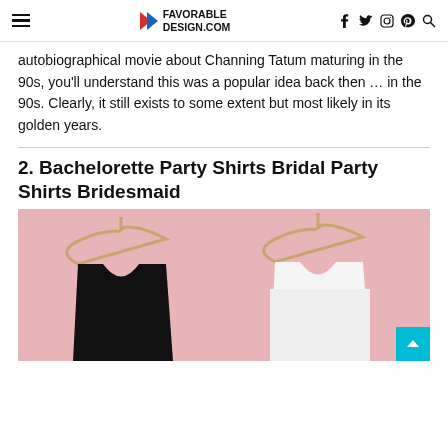FAVORABLE DESIGN.COM
autobiographical movie about Channing Tatum maturing in the 90s, you'll understand this was a popular idea back then … in the 90s. Clearly, it still exists to some extent but most likely in its golden years.
2. Bachelorette Party Shirts Bridal Party Shirts Bridesmaid
[Figure (photo): Two sleeveless tank tops on wooden hangers against a pink background — one black and one white.]